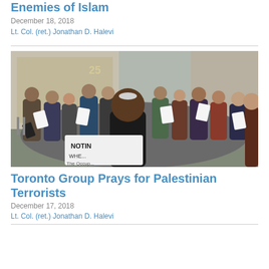Enemies of Islam
December 18, 2018
Lt. Col. (ret.) Jonathan D. Halevi
[Figure (photo): Group of people standing in a circle outdoors on a city street, holding papers and what appear to be protest signs including one reading 'NOT IN WHOSE'. A person wearing a kippah is visible in the foreground. Building with number 25 visible in background.]
Toronto Group Prays for Palestinian Terrorists
December 17, 2018
Lt. Col. (ret.) Jonathan D. Halevi